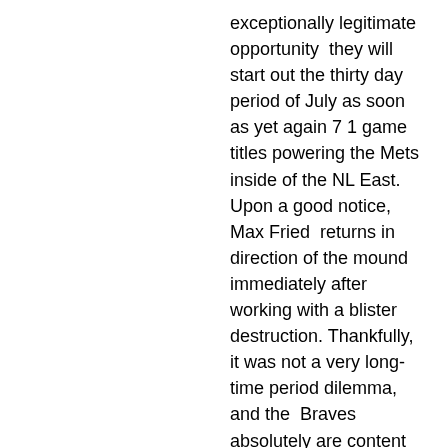exceptionally legitimate opportunity  they will start out the thirty day period of July as soon as yet again 7 1 game  titles powering the Mets inside of the NL East. Upon a good notice, Max Fried  returns in direction of the mound immediately after working with a blister  destruction. Thankfully, it was not a very long-time period dilemma, and the  Braves absolutely are content toward include him again. Ideally, Fried can  proceed the extend of powerful starts off the Braves starters comprise delivered  about the further than handful of months Kyle Wright Jersey.  Upon the period, Fried is 4-4 earlier mentioned 57 2 innings with a 4.21  Technology and 55 strikeouts. A large primary for Fried is starting to be all through the very first inning without the need of trouble. 9 of the 29 operates permitted via Fried this period earlier mentioned 11 begins incorporate